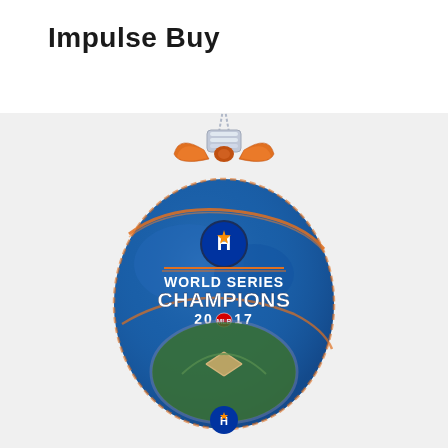Impulse Buy
[Figure (illustration): Houston Astros 2017 World Series Champions Christmas ornament — a blue teardrop-shaped ball ornament with a silver cap and chain hanger, an orange ribbon bow tied at the top, orange glitter accents, the Astros logo (stylized H with star), text 'WORLD SERIES CHAMPIONS 2017' with MLB logo, and an aerial photo of the baseball stadium printed on the ball. The Houston Astros logo also appears at the very bottom.]